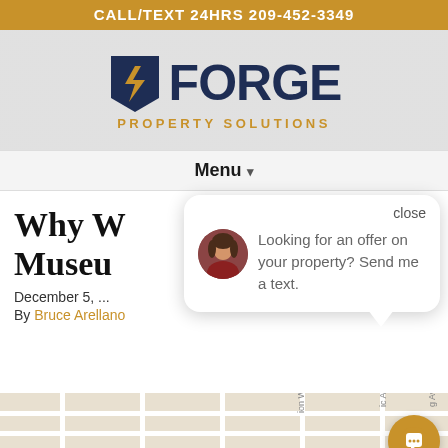CALL/TEXT 24HRS 209-452-3349
[Figure (logo): Forge Property Solutions logo with lightning bolt F icon in dark navy, FORGE in large bold navy text, PROPERTY SOLUTIONS in gold/amber text below]
Menu ▾
Why W... Museu...
December 5, ...
By Bruce Arellano
[Figure (screenshot): Chat popup overlay with close button, female avatar photo, text: Looking for an offer on your property? Send me a text.]
[Figure (map): Street map showing city grid with street labels including Ave and Way]